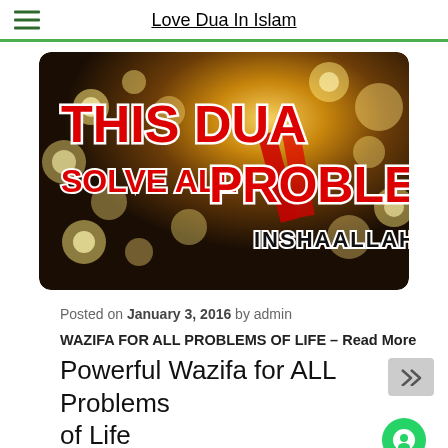Love Dua In Islam
[Figure (illustration): Promotional image with bokeh heart-shaped lights on dark golden background. Large bold red text reads: THIS DUA SOLVE ALL PROBLEM INSHAALLAH]
Posted on January 3, 2016 by admin
WAZIFA FOR ALL PROBLEMS OF LIFE – Read More
Powerful Wazifa for ALL Problems of Life